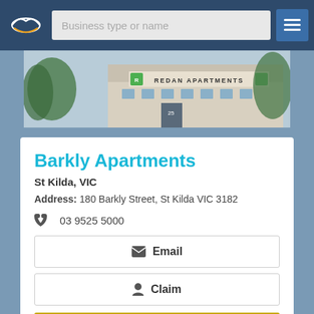Business type or name
[Figure (photo): Exterior photo of Redan Apartments building with signage]
Barkly Apartments
St Kilda, VIC
Address: 180 Barkly Street, St Kilda VIC 3182
03 9525 5000
Email
Claim
Book Now
View Details